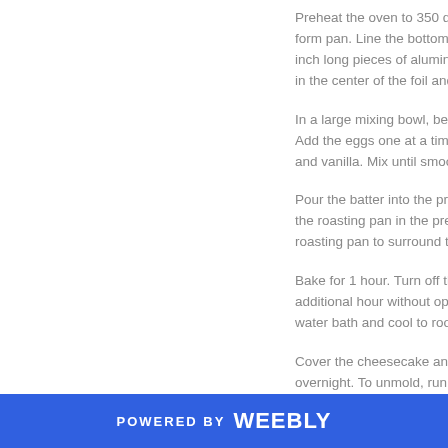Preheat the oven to 350 deg form pan. Line the bottom w inch long pieces of aluminu in the center of the foil and f
In a large mixing bowl, beat Add the eggs one at a time, and vanilla. Mix until smooth
Pour the batter into the prep the roasting pan in the prehe roasting pan to surround the
Bake for 1 hour. Turn off the additional hour without open water bath and cool to room
Cover the cheesecake and r overnight. To unmold, run a transfer the cheesecake to a coffee beans.
POWERED BY weebly